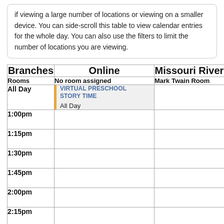if viewing a large number of locations or viewing on a smaller device. You can side-scroll this table to view calendar entries for the whole day. You can also use the filters to limit the number of locations you are viewing.
| Branches | Online | Missouri River |
| --- | --- | --- |
| Rooms | No room assigned | Mark Twain Room |
| All Day | VIRTUAL PRESCHOOL STORY TIME
All Day |  |
| 1:00pm |  |  |
| 1:15pm |  |  |
| 1:30pm |  |  |
| 1:45pm |  |  |
| 2:00pm |  |  |
| 2:15pm |  |  |